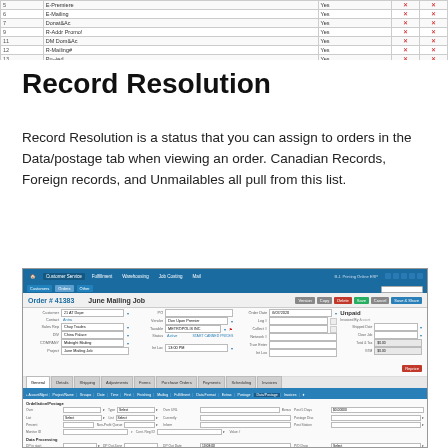[Figure (screenshot): Top portion of a data table showing rows of records with columns for ID, E-Mail/Name, Type, and action icons. Last row highlighted in blue.]
Record Resolution
Record Resolution is a status that you can assign to orders in the Data/postage tab when viewing an order. Canadian Records, Foreign records, and Unmailables all pull from this list.
[Figure (screenshot): Screenshot of a mailing order management application showing Order #41383 June Mailing Job with various fields, tabs (General, Details, Shipping, Adjustments, Forms, Purchase Orders, Payments, Scheduling, Invoices), and a Data/Postage sub-tab selected showing data processing options including Canadian Records dropdown with Select/None/Save options visible.]